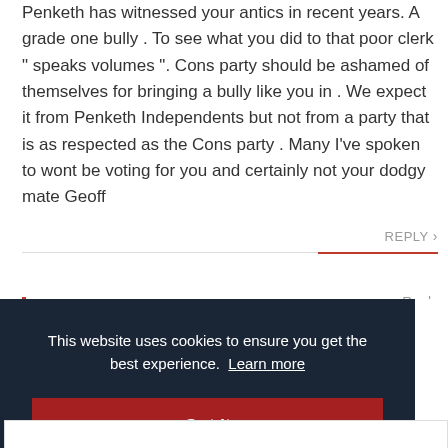Penketh has witnessed your antics in recent years. A grade one bully . To see what you did to that poor clerk “ speaks volumes “. Cons party should be ashamed of themselves for bringing a bully like you in . We expect it from Penketh Independents but not from a party that is as respected as the Cons party . Many I’ve spoken to wont be voting for you and certainly not your dodgy mate Geoff
REPLY
Reply
This website uses cookies to ensure you get the best experience. Learn more
Got it